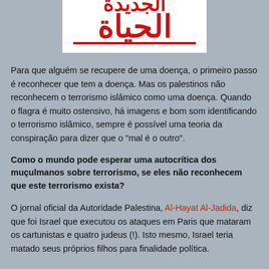[Figure (logo): Al-Hayat Al-Jadida newspaper logo with Arabic text in red on white background]
Para que alguém se recupere de uma doença, o primeiro passo é reconhecer que tem a doença. Mas os palestinos não reconhecem o terrorismo islâmico como uma doença. Quando o flagra é muito ostensivo, há imagens e bom som identificando o terrorismo islâmico, sempre é possível uma teoria da conspiração para dizer que o "mal é o outro".
Como o mundo pode esperar uma autocrítica dos muçulmanos sobre terrorismo, se eles não reconhecem que este terrorismo exista?
O jornal oficial da Autoridade Palestina, Al-Hayat Al-Jadida, diz que foi Israel que executou os ataques em Paris que mataram os cartunistas e quatro judeus (!). Isto mesmo, Israel teria matado seus próprios filhos para finalidade política.